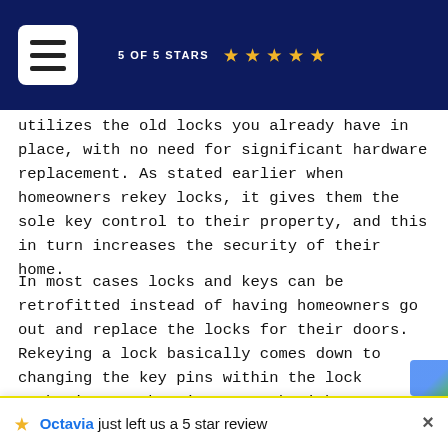5 OF 5 STARS ★★★★★
utilizes the old locks you already have in place, with no need for significant hardware replacement. As stated earlier when homeowners rekey locks, it gives them the sole key control to their property, and this in turn increases the security of their home.
In most cases locks and keys can be retrofitted instead of having homeowners go out and replace the locks for their doors. Rekeying a lock basically comes down to changing the key pins within the lock mechanism so that it can work with a completely new key. Unless the cylinder itself is damaged, or
Octavia just left us a 5 star review